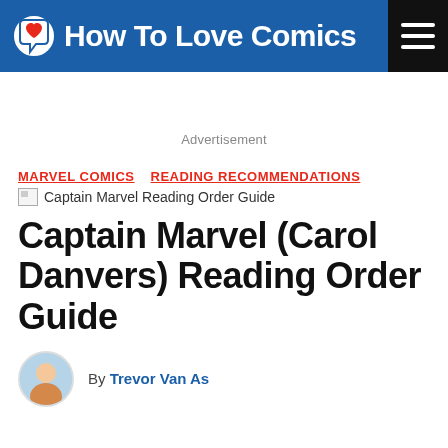How To Love Comics
Advertisement
MARVEL COMICS   READING RECOMMENDATIONS
[Figure (illustration): Broken image placeholder for Captain Marvel Reading Order Guide]
Captain Marvel (Carol Danvers) Reading Order Guide
By Trevor Van As